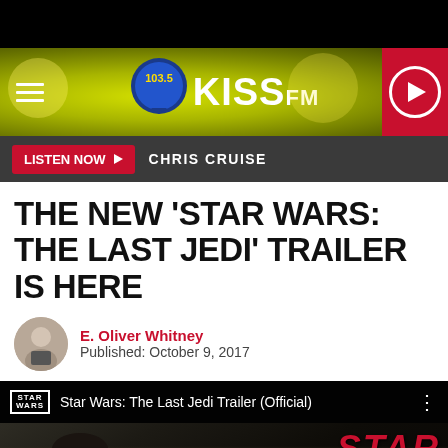[Figure (screenshot): 103.5 KISS FM radio station mobile website header with yellow-green bokeh background, hamburger menu icon on left, station logo in center, red play button on right]
[Figure (screenshot): Dark gray listen now bar with red LISTEN NOW button with arrow and text CHRIS CRUISE]
THE NEW ‘STAR WARS: THE LAST JEDI’ TRAILER IS HERE
E. Oliver Whitney
Published: October 9, 2017
[Figure (screenshot): YouTube embed showing Star Wars: The Last Jedi Trailer (Official) with movie scene of character and Star Wars The Last Jedi logo overlay in red, YouTube play button visible]